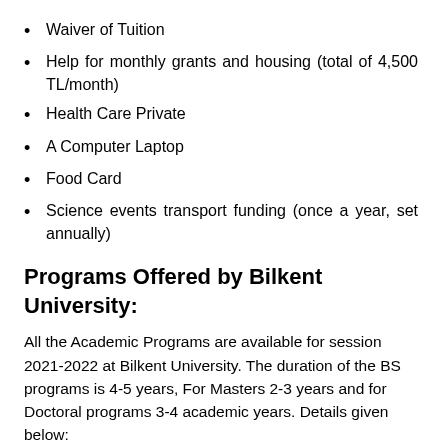Waiver of Tuition
Help for monthly grants and housing (total of 4,500 TL/month)
Health Care Private
A Computer Laptop
Food Card
Science events transport funding (once a year, set annually)
Programs Offered by Bilkent University:
All the Academic Programs are available for session 2021-2022 at Bilkent University. The duration of the BS programs is 4-5 years, For Masters 2-3 years and for Doctoral programs 3-4 academic years. Details given below:
Undergraduate Programs